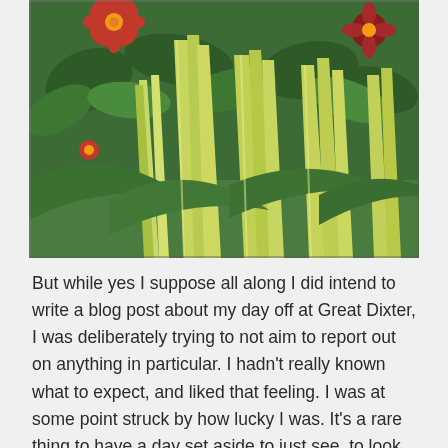[Figure (photo): A lush garden scene with tall green and yellow-striped grass or bamboo-like foliage in the foreground and red/orange dahlia-like flowers visible in the background and upper corners, photographed outdoors in daylight.]
But while yes I suppose all along I did intend to write a blog post about my day off at Great Dixter, I was deliberately trying to not aim to report out on anything in particular. I hadn't really known what to expect, and liked that feeling. I was at some point struck by how lucky I was. It's a rare thing to have a day set aside to just see, to look at something, and to be someplace where what I was looking at was beautiful and unendingly